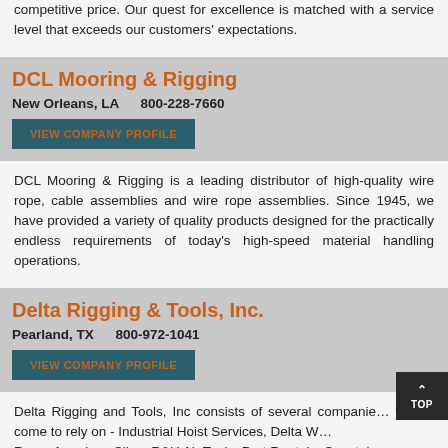competitive price. Our quest for excellence is matched with a service level that exceeds our customers' expectations.
DCL Mooring & Rigging
New Orleans, LA    800-228-7660
VIEW COMPANY PROFILE
DCL Mooring & Rigging is a leading distributor of high-quality wire rope, cable assemblies and wire rope assemblies. Since 1945, we have provided a variety of quality products designed for the practically endless requirements of today's high-speed material handling operations.
Delta Rigging & Tools, Inc.
Pearland, TX    800-972-1041
VIEW COMPANY PROFILE
Delta Rigging and Tools, Inc consists of several companies you've come to rely on - Industrial Hoist Services, Delta W... Rope, American Sling, R&U Air Tools, Port Rentals, Coastal...